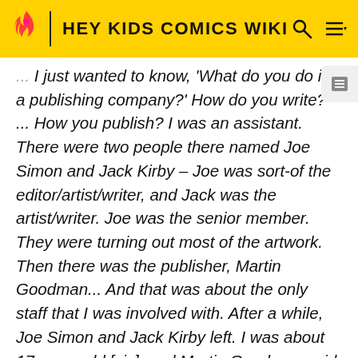HEY KIDS COMICS WIKI
... I just wanted to know, 'What do you do in a publishing company?' How do you write? ... How you publish? I was an assistant. There were two people there named Joe Simon and Jack Kirby – Joe was sort-of the editor/artist/writer, and Jack was the artist/writer. Joe was the senior member. They were turning out most of the artwork. Then there was the publisher, Martin Goodman... And that was about the only staff that I was involved with. After a while, Joe Simon and Jack Kirby left. I was about 17 years old [sic], and Martin Goodman said to me, 'Do you think you can hold down the job of editor until I can find a real person?' When you're 17, what do you know? I said, 'Sure! I can do it!' I think